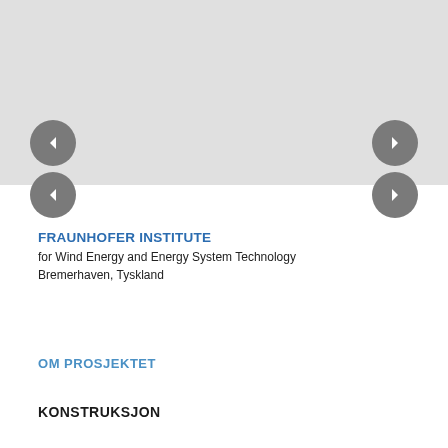[Figure (photo): A gray image placeholder area with navigation arrow buttons on left and right sides]
FRAUNHOFER INSTITUTE
for Wind Energy and Energy System Technology
Bremerhaven, Tyskland
OM PROSJEKTET
KONSTRUKSJON